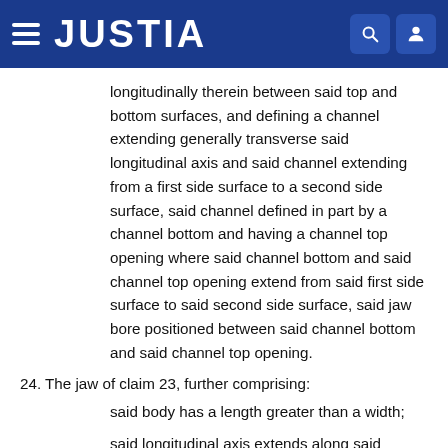JUSTIA
longitudinally therein between said top and bottom surfaces, and defining a channel extending generally transverse said longitudinal axis and said channel extending from a first side surface to a second side surface, said channel defined in part by a channel bottom and having a channel top opening where said channel bottom and said channel top opening extend from said first side surface to said second side surface, said jaw bore positioned between said channel bottom and said channel top opening.
24. The jaw of claim 23, further comprising:
said body has a length greater than a width;
said longitudinal axis extends along said length, and